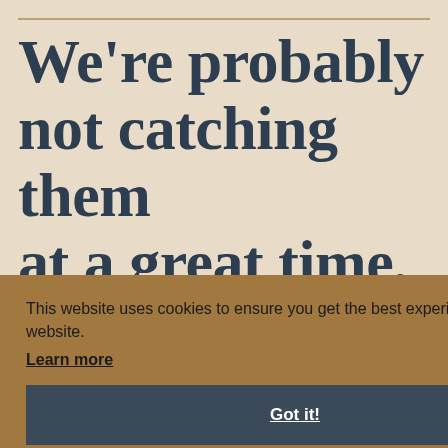We're probably not catching them at a great time,
This website uses cookies to ensure you get the best experience on our website.
Learn more
Got it!
[Figure (other): Social media sharing icons row at the bottom: Facebook, Twitter, print, table, email, edit/share, bookmark, chart icons]